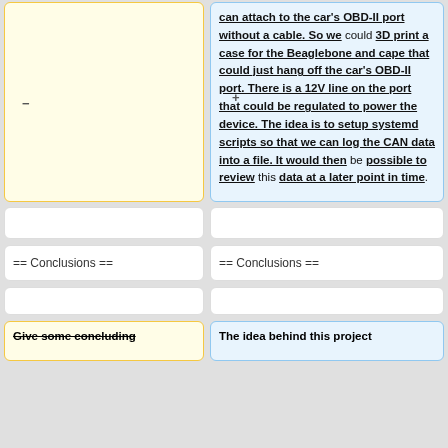(left column - empty yellow diff box with minus marker)
can attach to the car's OBD-II port without a cable. So we could 3D print a case for the Beaglebone and cape that could just hang off the car's OBD-II port. There is a 12V line on the port that could be regulated to power the device. The idea is to setup systemd scripts so that we can log the CAN data into a file. It would then be possible to review this data at a later point in time.
(empty white box left)
(empty white box right)
== Conclusions ==
== Conclusions ==
(empty box left)
(empty box right)
Give some concluding
The idea behind this project